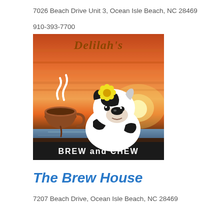7026 Beach Drive Unit 3, Ocean Isle Beach, NC 28469
910-393-7700
[Figure (logo): Delilah's Brew and Chew logo: a black and white dog wearing a yellow flower, holding a coffee cup, against a sunset beach background with orange and red sky. Text reads 'Delilah's' in brown cursive at the top and 'BREW AND CHEW' in white on a black banner at the bottom.]
The Brew House
7207 Beach Drive, Ocean Isle Beach, NC 28469